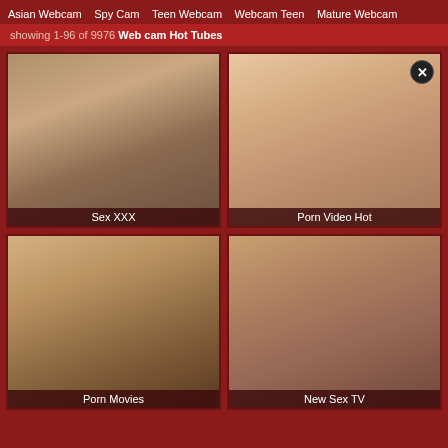Asian Webcam  Spy Cam  Teen Webcam  Webcam Teen  Mature Webcam
showing 1-96 of 9976 Web cam Hot Tubes
[Figure (photo): Thumbnail image with label Sex XXX]
[Figure (photo): Thumbnail image with label Porn Video Hot]
[Figure (photo): Thumbnail image with label Porn Movies]
[Figure (photo): Thumbnail image with label New Sex TV]